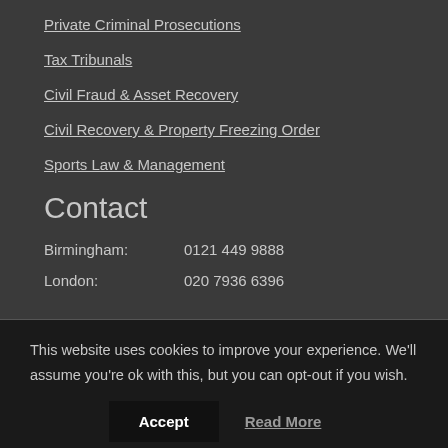Private Criminal Prosecutions
Tax Tribunals
Civil Fraud & Asset Recovery
Civil Recovery & Property Freezing Order
Sports Law & Management
Contact
Birmingham:    0121 449 9888
London:    020 7936 6396
This website uses cookies to improve your experience. We'll assume you're ok with this, but you can opt-out if you wish.
Accept   Read More